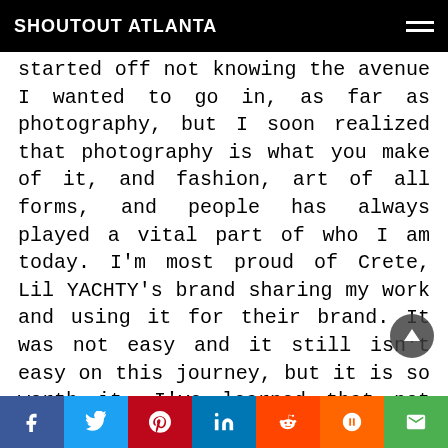SHOUTOUT ATLANTA
started off not knowing the avenue I wanted to go in, as far as photography, but I soon realized that photography is what you make of it, and fashion, art of all forms, and people has always played a vital part of who I am today. I'm most proud of Crete, Lil YACHTY's brand sharing my work and using it for their brand. It was not easy and it still isn't easy on this journey, but it is so worth it. I've learned that not every one will take this journey with you, and that is okay. I've also learned that you have to work extremely hard to get where you want. I want the world to simply see and acknowledge that I love what I do and I want everyone to see that too.
f  Twitter  Pinterest  in  Reddit  Mix  Email